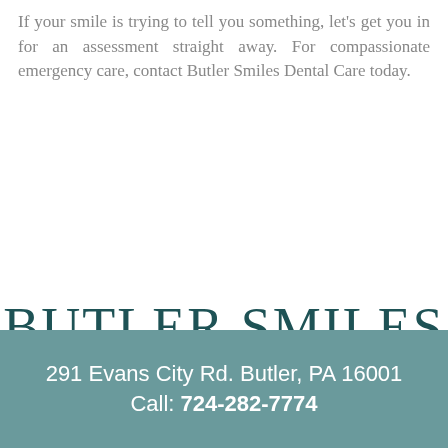If your smile is trying to tell you something, let's get you in for an assessment straight away. For compassionate emergency care, contact Butler Smiles Dental Care today.
[Figure (logo): Butler Smiles Dental Care logo with large serif text 'BUTLER SMILES' in dark teal and smaller spaced sans-serif 'DENTAL CARE' with decorative lines]
291 Evans City Rd. Butler, PA 16001
Call: 724-282-7774